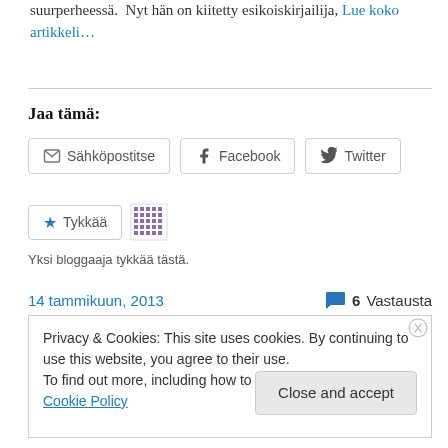suurperheessä.  Nyt hän on kiitetty esikoiskirjailija, Lue koko artikkeli…
Jaa tämä:
[Figure (screenshot): Share buttons: Sähköpostitse, Facebook, Twitter]
[Figure (screenshot): Tykkää (Like) button with star icon, and a purple avatar grid]
Yksi bloggaaja tykkää tästä.
14 tammikuun, 2013    💬 6 Vastausta
Privacy & Cookies: This site uses cookies. By continuing to use this website, you agree to their use. To find out more, including how to control cookies, see here: Cookie Policy
Close and accept